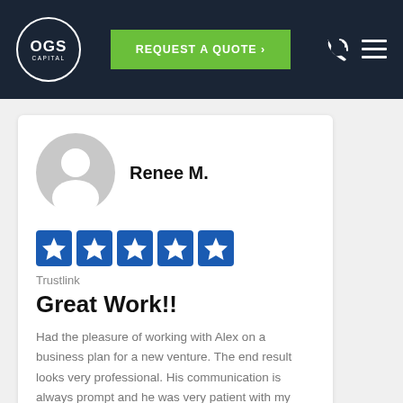OGS Capital | REQUEST A QUOTE >
[Figure (illustration): User profile avatar - gray circle with white person silhouette]
Renee M.
[Figure (infographic): 5 blue star rating boxes]
Trustlink
Great Work!!
Had the pleasure of working with Alex on a business plan for a new venture. The end result looks very professional. His communication is always prompt and he was very patient with my detailed requests.